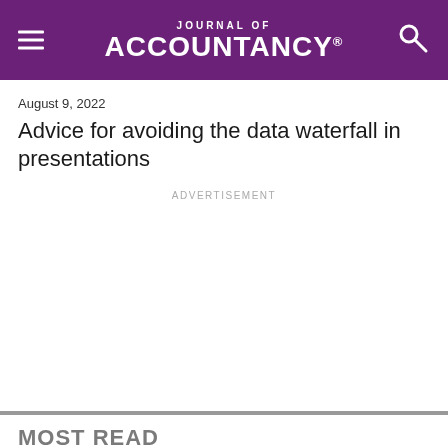Journal of Accountancy
August 9, 2022
Advice for avoiding the data waterfall in presentations
ADVERTISEMENT
MOST READ